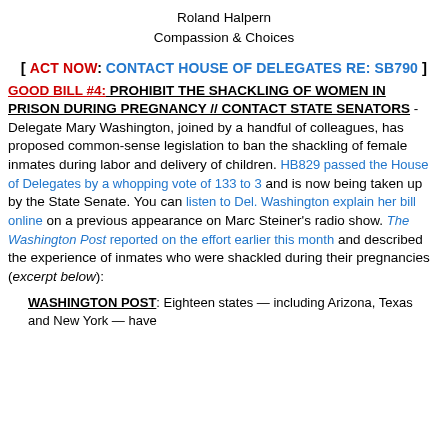Roland Halpern
Compassion & Choices
[ ACT NOW: CONTACT HOUSE OF DELEGATES RE: SB790 ]
GOOD BILL #4: PROHIBIT THE SHACKLING OF WOMEN IN PRISON DURING PREGNANCY // CONTACT STATE SENATORS
- Delegate Mary Washington, joined by a handful of colleagues, has proposed common-sense legislation to ban the shackling of female inmates during labor and delivery of children. HB829 passed the House of Delegates by a whopping vote of 133 to 3 and is now being taken up by the State Senate. You can listen to Del. Washington explain her bill online on a previous appearance on Marc Steiner's radio show. The Washington Post reported on the effort earlier this month and described the experience of inmates who were shackled during their pregnancies (excerpt below):
WASHINGTON POST: Eighteen states — including Arizona, Texas and New York — have